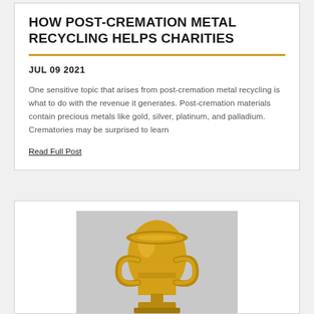HOW POST-CREMATION METAL RECYCLING HELPS CHARITIES
JUL 09 2021
One sensitive topic that arises from post-cremation metal recycling is what to do with the revenue it generates. Post-cremation materials contain precious metals like gold, silver, platinum, and palladium. Crematories may be surprised to learn
Read Full Post
[Figure (photo): A gold trophy cup on a light gray background, partially cropped at the bottom]